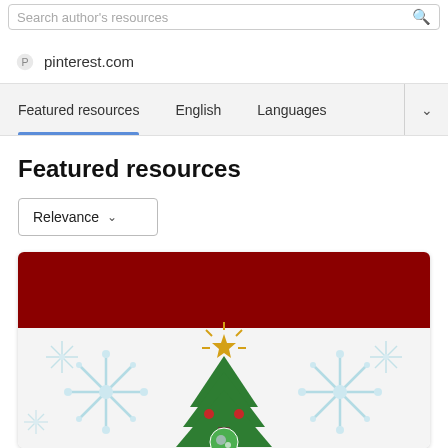Search author's resources
pinterest.com
Featured resources  English  Languages
Featured resources
Relevance
[Figure (screenshot): Christmas-themed card with dark red header and white background showing a Christmas tree with gold star on top, red ornaments, and snowflake decorations on either side]